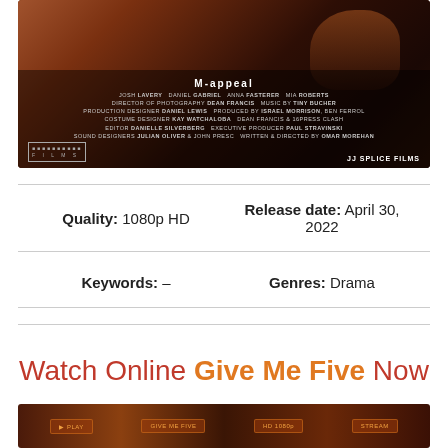[Figure (photo): Movie poster for 'Give Me Five' showing a person sitting on a gym floor, with film credits listing Josh Lavery, Daniel Gabriel, and others, produced by JJ Splice Films]
| Quality | Release date |
| --- | --- |
| 1080p HD | April 30, 2022 |
| Keywords | Genres |
| --- | --- |
| – | Drama |
Watch Online Give Me Five Now
[Figure (photo): Bottom strip showing thumbnails or promotional images for the film]